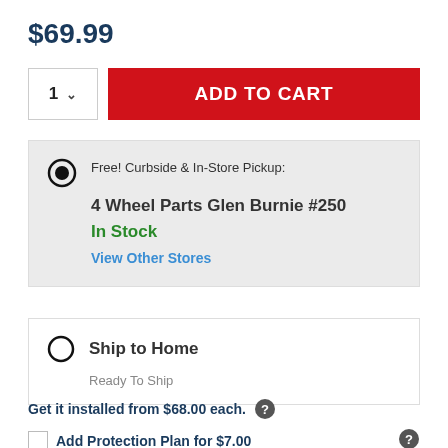$69.99
ADD TO CART
Free! Curbside & In-Store Pickup:
4 Wheel Parts Glen Burnie #250
In Stock
View Other Stores
Ship to Home
Ready To Ship
Get it installed from $68.00 each.
Add Protection Plan for $7.00